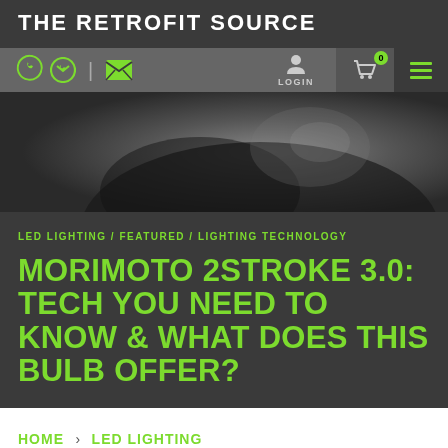THE RETROFIT SOURCE
[Figure (screenshot): Navigation bar with phone icon, email icon, login icon, cart with 0 badge, and hamburger menu on dark gray background]
[Figure (photo): Dark hero image showing a car headlight/fog light from above, dark gray tones]
LED LIGHTING / FEATURED / LIGHTING TECHNOLOGY
MORIMOTO 2STROKE 3.0: TECH YOU NEED TO KNOW & WHAT DOES THIS BULB OFFER?
HOME > LED LIGHTING